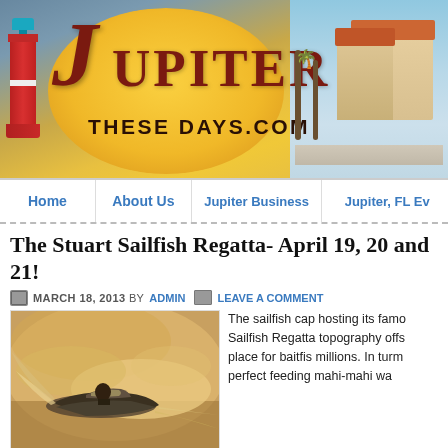[Figure (illustration): JupiterTheseDays.com website header banner with lighthouse logo, large J letter, Jupiter These Days.com text on a golden sun background, with coastal building imagery on the right]
Home | About Us | Jupiter Business | Jupiter, FL Ev...
The Stuart Sailfish Regatta- April 19, 20 and 21!
MARCH 18, 2013 BY ADMIN  LEAVE A COMMENT
[Figure (photo): Sepia-toned photo of a speedboat racing on water with spray]
The sailfish cap hosting its famo Sailfish Regatta topography offs place for baitfis millions. In turm perfect feeding mahi-mahi wa...